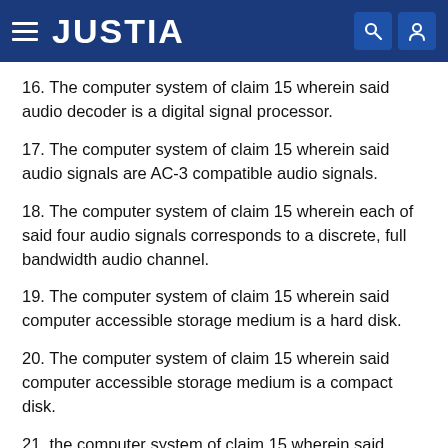JUSTIA
16. The computer system of claim 15 wherein said audio decoder is a digital signal processor.
17. The computer system of claim 15 wherein said audio signals are AC-3 compatible audio signals.
18. The computer system of claim 15 wherein each of said four audio signals corresponds to a discrete, full bandwidth audio channel.
19. The computer system of claim 15 wherein said computer accessible storage medium is a hard disk.
20. The computer system of claim 15 wherein said computer accessible storage medium is a compact disk.
21. the computer system of claim 15 wherein said computer accessible storage medium is a laser disk.